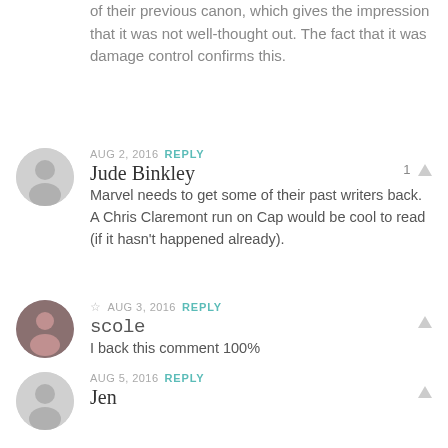of their previous canon, which gives the impression that it was not well-thought out. The fact that it was damage control confirms this.
AUG 2, 2016  REPLY
Jude Binkley
Marvel needs to get some of their past writers back. A Chris Claremont run on Cap would be cool to read (if it hasn't happened already).
AUG 3, 2016  REPLY
scole
I back this comment 100%
AUG 5, 2016  REPLY
Jen
Chris Claremont won't do work for MARVEL again. He's happy. You can ask him yourself if you ever meet him.